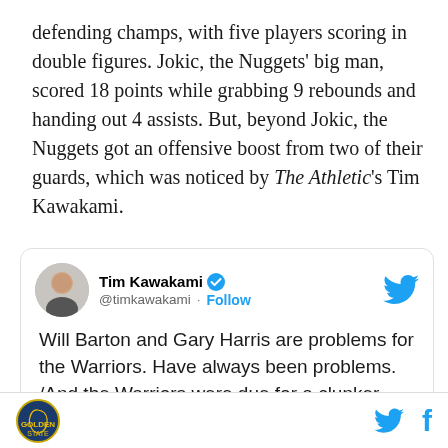defending champs, with five players scoring in double figures. Jokic, the Nuggets' big man, scored 18 points while grabbing 9 rebounds and handing out 4 assists. But, beyond Jokic, the Nuggets got an offensive boost from two of their guards, which was noticed by The Athletic's Tim Kawakami.
[Figure (screenshot): Embedded tweet from Tim Kawakami (@timkawakami) with Twitter verified badge and Follow button. Tweet text: 'Will Barton and Gary Harris are problems for the Warriors. Have always been problems. /And the Warriors were due for a clunker.']
Site logo icon | Twitter bird icon | Facebook f icon